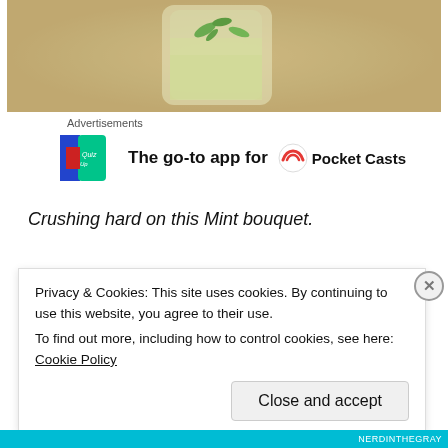[Figure (photo): Close-up photo of a mint bouquet or drink with mint leaves and a glass, warm blurred background]
Advertisements
[Figure (screenshot): Advertisement banner showing a teal/green app icon with 'QuizUp' text, followed by 'The go-to app for' text, and Pocket Casts logo with a red arc icon]
Crushing hard on this Mint bouquet.
Privacy & Cookies: This site uses cookies. By continuing to use this website, you agree to their use.
To find out more, including how to control cookies, see here: Cookie Policy
Close and accept